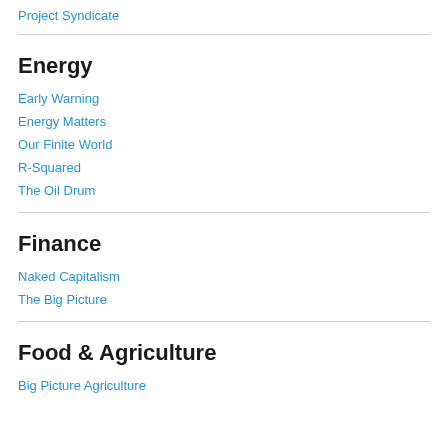Project Syndicate
Energy
Early Warning
Energy Matters
Our Finite World
R-Squared
The Oil Drum
Finance
Naked Capitalism
The Big Picture
Food & Agriculture
Big Picture Agriculture